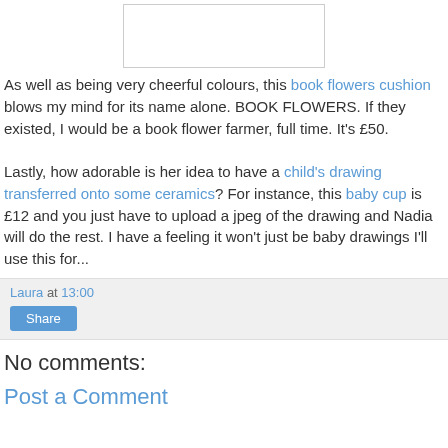[Figure (other): White rectangle image placeholder with border at top of page]
As well as being very cheerful colours, this book flowers cushion blows my mind for its name alone. BOOK FLOWERS. If they existed, I would be a book flower farmer, full time. It's £50.

Lastly, how adorable is her idea to have a child's drawing transferred onto some ceramics? For instance, this baby cup is £12 and you just have to upload a jpeg of the drawing and Nadia will do the rest. I have a feeling it won't just be baby drawings I'll use this for...
Laura at 13:00
Share
No comments:
Post a Comment